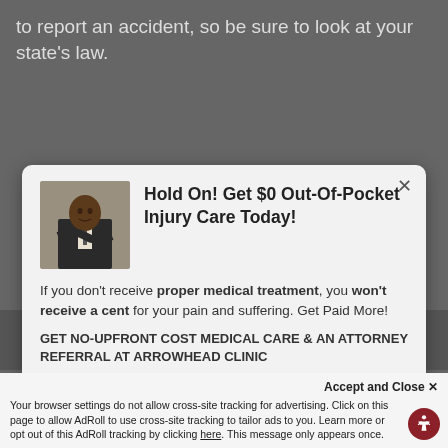to report an accident, so be sure to look at your state's law.
[Figure (photo): Modal popup with man in suit photo, heading 'Hold On! Get $0 Out-Of-Pocket Injury Care Today!']
If you don't receive proper medical treatment, you won't receive a cent for your pain and suffering. Get Paid More!
GET NO-UPFRONT COST MEDICAL CARE & AN ATTORNEY REFERRAL AT ARROWHEAD CLINIC
Schedule Free Consultation
Accept and Close ✕
Your browser settings do not allow cross-site tracking for advertising. Click on this page to allow AdRoll to use cross-site tracking to tailor ads to you. Learn more or opt out of this AdRoll tracking by clicking here. This message only appears once.